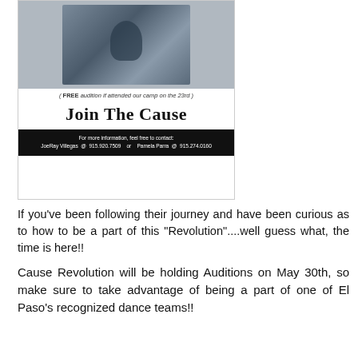[Figure (photo): Flyer image for Cause Revolution auditions. Shows a black and white photo with the text 'Join The Cause', a note about FREE audition if attended camp on the 23rd, and contact info for JoeRay Villegas @ 915.920.7509 or Pamela Parra @ 915.274.0160.]
If you've been following their journey and have been curious as to how to be a part of this "Revolution"....well guess what, the time is here!!
Cause Revolution will be holding Auditions on May 30th, so make sure to take advantage of being a part of one of El Paso's recognized dance teams!!
If you haven't seen them, then you can see some of their work here...
https://www.facebook.com/CauseRevolution